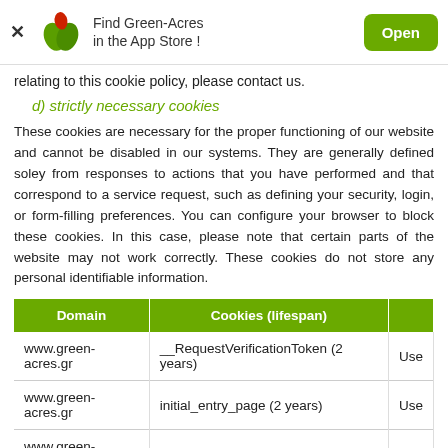[Figure (screenshot): App Store banner with Green-Acres logo, 'Find Green-Acres in the App Store!' text, and an 'Open' button]
relating to this cookie policy, please contact us.
d) strictly necessary cookies
These cookies are necessary for the proper functioning of our website and cannot be disabled in our systems. They are generally defined soley from responses to actions that you have performed and that correspond to a service request, such as defining your security, login, or form-filling preferences. You can configure your browser to block these cookies. In this case, please note that certain parts of the website may not work correctly. These cookies do not store any personal identifiable information.
| Domain | Cookies (lifespan) |  |
| --- | --- | --- |
| www.green-acres.gr | __RequestVerificationToken (2 years) | Use |
| www.green-acres.gr | initial_entry_page (2 years) | Use |
| www.green-acres.gr | initial_referer (1 year) | Use |